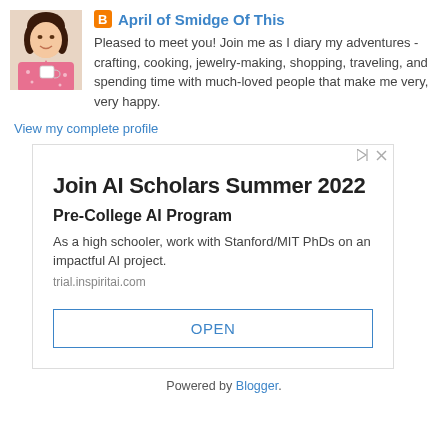[Figure (photo): Profile photo of April, a woman in a pink floral top holding a mug]
April of Smidge Of This
Pleased to meet you! Join me as I diary my adventures - crafting, cooking, jewelry-making, shopping, traveling, and spending time with much-loved people that make me very, very happy.
View my complete profile
[Figure (screenshot): Advertisement for AI Scholars Summer 2022 Pre-College AI Program with headline, description, URL trial.inspiritai.com, and OPEN button]
Powered by Blogger.